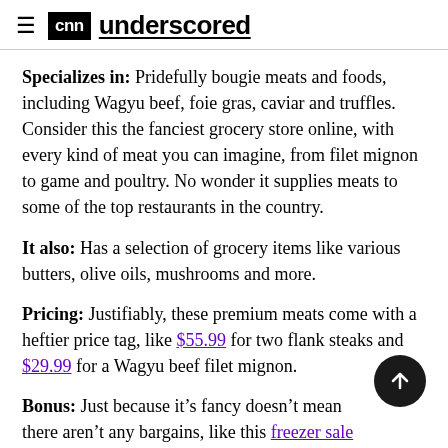CNN underscored
Specializes in: Pridefully bougie meats and foods, including Wagyu beef, foie gras, caviar and truffles. Consider this the fanciest grocery store online, with every kind of meat you can imagine, from filet mignon to game and poultry. No wonder it supplies meats to some of the top restaurants in the country.
It also: Has a selection of grocery items like various butters, olive oils, mushrooms and more.
Pricing: Justifiably, these premium meats come with a heftier price tag, like $55.99 for two flank steaks and $29.99 for a Wagyu beef filet mignon.
Bonus: Just because it’s fancy doesn’t mean there aren’t any bargains, like this freezer sale